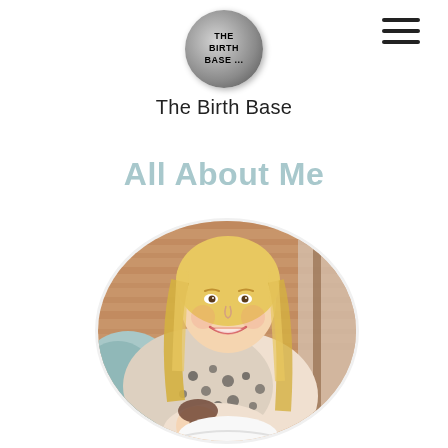[Figure (logo): The Birth Base circular logo — globe-like sphere with text 'THE BIRTH BASE' printed on it]
[Figure (other): Hamburger menu icon (three horizontal lines) in top right corner]
The Birth Base
All About Me
[Figure (photo): Oval-cropped photo of a smiling blonde woman holding a newborn baby, seated indoors with wooden paneling in the background]